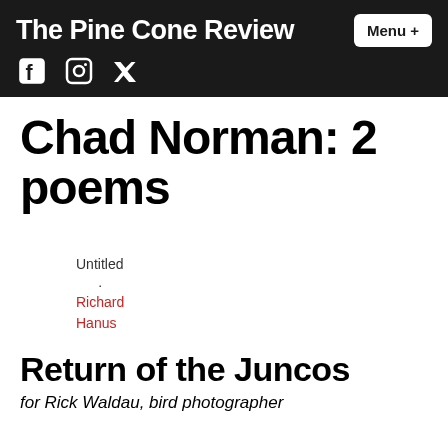The Pine Cone Review
Chad Norman: 2 poems
Untitled
.
Richard
Hanus
Return of the Juncos
for Rick Waldau, bird photographer